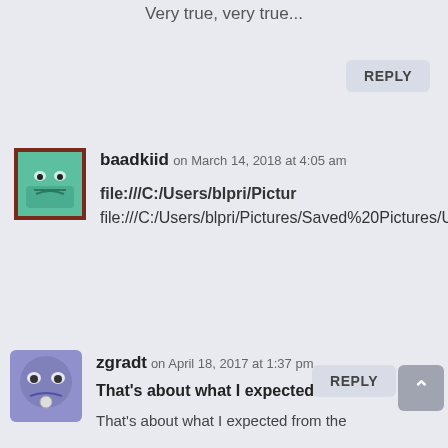Very true, very true...
REPLY
baadkiid on March 14, 2018 at 4:05 am
file:///C:/Users/blpri/Pictur
file:///C:/Users/blpri/Pictures/Saved%20Pictures/Unigine_Heaven_Benchmark_4.0_20180313_1929.html
REPLY
zgradt on April 18, 2017 at 1:37 pm
That's about what I expected
That's about what I expected from the